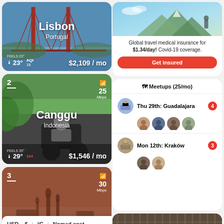[Figure (photo): Lisbon city card with bridge, Portugal, 23°C, AQI 18, $2,109/mo]
[Figure (photo): Insurance card with mountain photo, text about global travel medical insurance for $1.34/day, Covid-19 coverage, Get insured button]
[Figure (photo): Canggu, Indonesia city card with motorcycle, 29°C feels 35°, AQI 104, $1,546/mo, 25 Mbps]
[Figure (screenshot): Meetups panel showing 25/mo, Thu 29th Guadalajara (4 attendees), Mon 12th Kraków (3 attendees)]
[Figure (photo): Third city card ranked 3, 30 Mbps, reddish-brown city skyline]
[Figure (photo): Right bottom image card with dark wood/architectural detail photo]
Messages
USD – $ | °C | Nomad cost